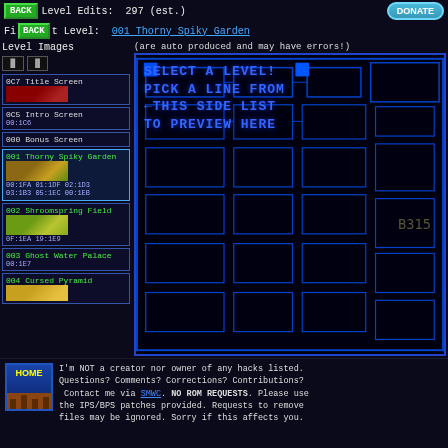Level Edits: 297 (est.)
First Level: 001 Thorny Spiky Garden
Level Images
0C7 Title Screen
0C5 Intro Screen
00:1C6
000 Bonus Screen
001 Thorny Spiky Garden
00:1FA 01:1DF 02:1D3
03:1B3 05:1EC 00:1EB
002 Shroomspring Field
0F:1EA 19:1E9
003 Ghost Water Palace
00:1E7
004 Cursed Pyramid
[Figure (screenshot): Level preview area showing a maze/level map in blue lines on dark background, with text 'SELECT A LEVEL! PICK A LINE FROM ←THIS SIDE LIST TO PREVIEW HERE']
I'm NOT a creator nor owner of any hacks listed. Questions? Comments? Corrections? Contributions? Contact me via SMWC. NO ROM REQUESTS. Please use the IPS/BPS patches provided. Requests to remove files may be ignored. Sorry if this affects you.